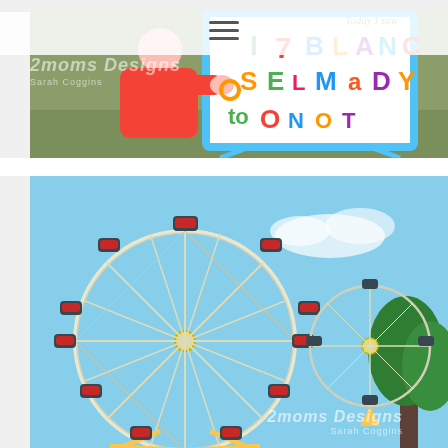[Figure (photo): Child in red shirt placing colorful magnetic letters on a white board/easel with blue frame. Watermark reads '2moms Designs Sarah Coggins'. Text overlay reads 'Today I saw'.]
[Figure (photo): Ferris wheel with red gondolas and yellow/white structure against a blue sky with clouds and trees in the background. Watermark reads '2moms Designs Sarah Coggins'.]